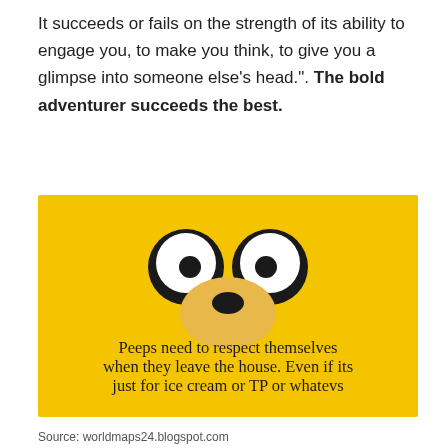It succeeds or fails on the strength of its ability to engage you, to make you think, to give you a glimpse into someone else's head.". The bold adventurer succeeds the best.
[Figure (illustration): Yellow background image of Jake the Dog from Adventure Time cartoon, showing his round eyes and nose, with text: 'Peeps need to respect themselves when they leave the house. Even if its just for ice cream or TP or whatevs']
Source: worldmaps24.blogspot.com